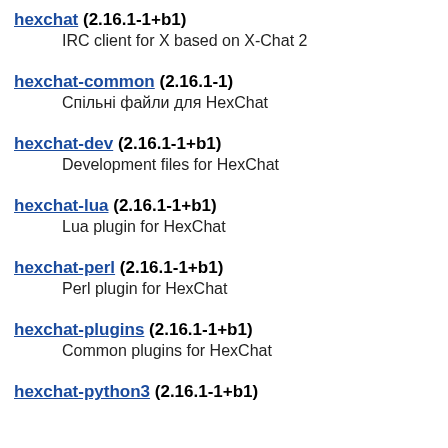hexchat (2.16.1-1+b1)
  IRC client for X based on X-Chat 2
hexchat-common (2.16.1-1)
  Спільні файли для HexChat
hexchat-dev (2.16.1-1+b1)
  Development files for HexChat
hexchat-lua (2.16.1-1+b1)
  Lua plugin for HexChat
hexchat-perl (2.16.1-1+b1)
  Perl plugin for HexChat
hexchat-plugins (2.16.1-1+b1)
  Common plugins for HexChat
hexchat-python3 (2.16.1-1+b1)